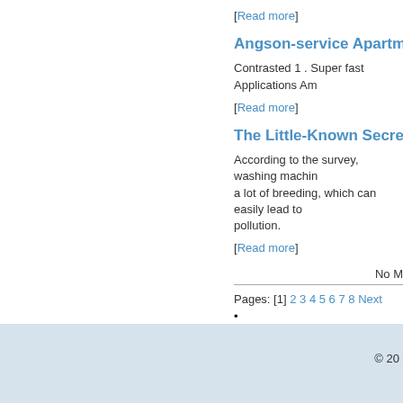[Read more]
Angson-service Apartments 2
Contrasted 1 . Super fast Applications Am
[Read more]
The Little-Known Secrets To S
According to the survey, washing machin... a lot of breeding, which can easily lead to... pollution.
[Read more]
No M
Pages: [1] 2 3 4 5 6 7 8 Next
•
© 20